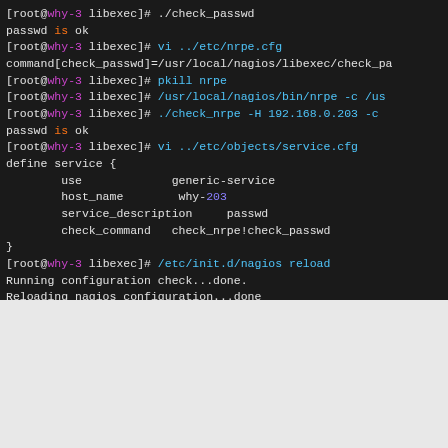[Figure (screenshot): Terminal/shell screenshot showing nagios configuration commands including check_passwd, vi nrpe.cfg, pkill nrpe, check_nrpe, vi objects/service.cfg with service definition block, and nagios reload output]
[Figure (screenshot): Browser screenshot showing Nagios Core web interface at http://192.168.0.203/nagios/ with browser toolbar, bookmarks bar, tab bar, and Nagios Current Network Status panel]